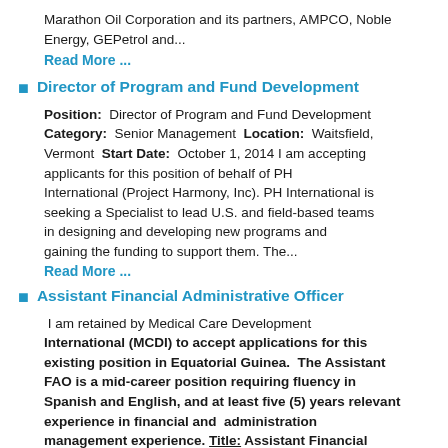Marathon Oil Corporation and its partners, AMPCO, Noble Energy, GEPetrol and...
Read More ...
Director of Program and Fund Development
Position: Director of Program and Fund Development Category: Senior Management Location: Waitsfield, Vermont Start Date: October 1, 2014 I am accepting applicants for this position of behalf of PH International (Project Harmony, Inc). PH International is seeking a Specialist to lead U.S. and field-based teams in designing and developing new programs and gaining the funding to support them. The...
Read More ...
Assistant Financial Administrative Officer
I am retained by Medical Care Development International (MCDI) to accept applications for this existing position in Equatorial Guinea. The Assistant FAO is a mid-career position requiring fluency in Spanish and English, and at least five (5) years relevant experience in financial and administration management experience. Title: Assistant Financial...